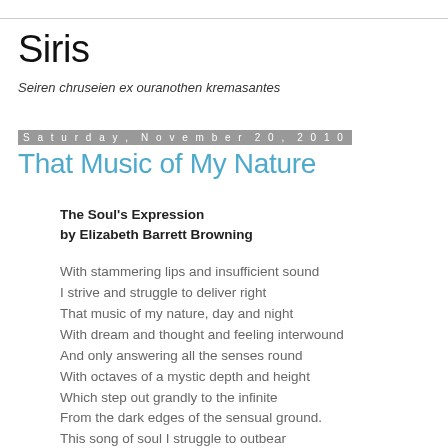Siris
Seiren chruseien ex ouranothen kremasantes
Saturday, November 20, 2010
That Music of My Nature
The Soul's Expression
by Elizabeth Barrett Browning
With stammering lips and insufficient sound
I strive and struggle to deliver right
That music of my nature, day and night
With dream and thought and feeling interwound
And only answering all the senses round
With octaves of a mystic depth and height
Which step out grandly to the infinite
From the dark edges of the sensual ground.
This song of soul I struggle to outbear